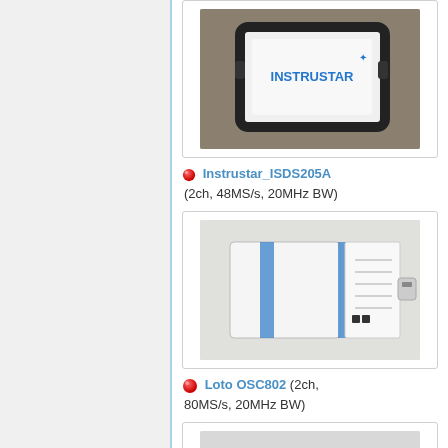[Figure (photo): Photo of Instrustar ISDS205A USB oscilloscope device on a granite surface, showing the white device with INSTRUSTAR logo in blue]
🔴 Instrustar_ISDS205A (2ch, 48MS/s, 20MHz BW)
[Figure (photo): Photo of Loto OSC802 USB oscilloscope device, white rectangular device with blue tape/label and documentation]
🔴 Loto OSC802 (2ch, 80MS/s, 20MHz BW)
[Figure (photo): Partial view of another oscilloscope product card at bottom of page]